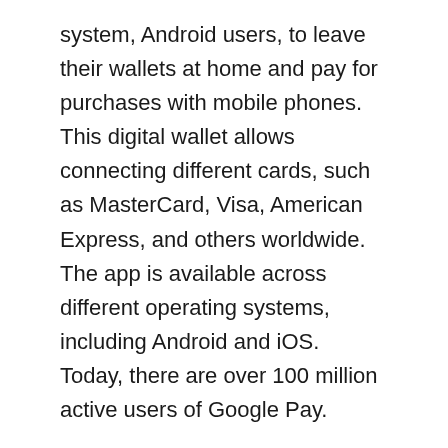system, Android users, to leave their wallets at home and pay for purchases with mobile phones. This digital wallet allows connecting different cards, such as MasterCard, Visa, American Express, and others worldwide. The app is available across different operating systems, including Android and iOS. Today, there are over 100 million active users of Google Pay.
Apple Wallet